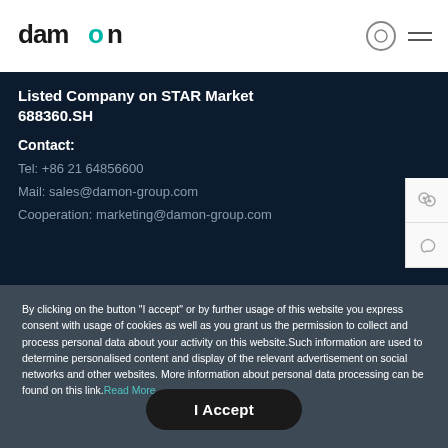Damon
Listed Company on STAR Market 688360.SH
Contact:
Tel: +86 21 64856600
Mail: sales@damon-group.com
Cooperation: marketing@damon-group.com
By clicking on the button "I accept" or by further usage of this website you express consent with usage of cookies as well as you grant us the permission to collect and process personal data about your activity on this website.Such information are used to determine personalised content and display of the relevant advertisement on social networks and other websites. More information about personal data processing can be found on this link.Read More
I Accept